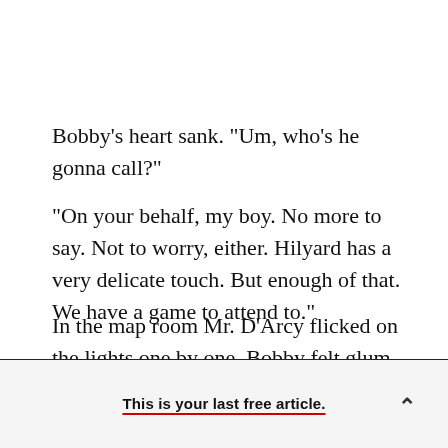Bobby's heart sank. "Um, who's he gonna call?"
"On your behalf, my boy. No more to say. Not to worry, either. Hilyard has a very delicate touch. But enough of that. We have a game to attend to."
In the map room Mr. D'Arcy flicked on the lights one by one. Bobby felt glum until he was captured by the map again. All was as it had been left. The
This is your last free article.